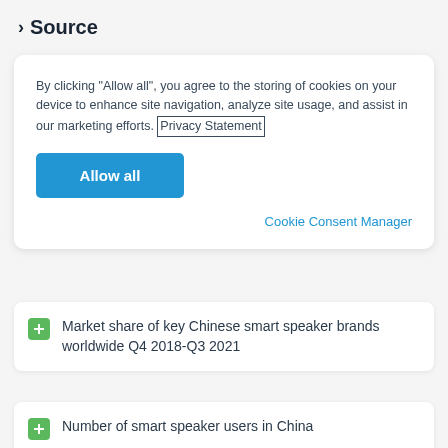› Source
By clicking "Allow all", you agree to the storing of cookies on your device to enhance site navigation, analyze site usage, and assist in our marketing efforts. Privacy Statement
Allow all
Cookie Consent Manager
Market share of key Chinese smart speaker brands worldwide Q4 2018-Q3 2021
Number of smart speaker users in China